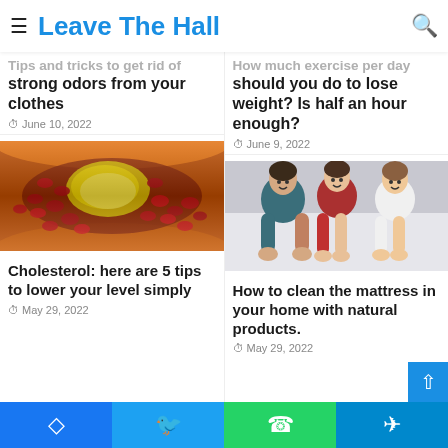Leave The Hall
Tips and tricks to get rid of strong odors from your clothes
June 10, 2022
How much exercise per day should you do to lose weight? Is half an hour enough?
June 9, 2022
[Figure (photo): Medical illustration of a blood vessel with cholesterol blockage showing red blood cells and yellow plaque]
Cholesterol: here are 5 tips to lower your level simply
May 29, 2022
[Figure (photo): People smiling and lying on a bed/mattress]
How to clean the mattress in your home with natural products.
May 29, 2022
Facebook Twitter WhatsApp Telegram